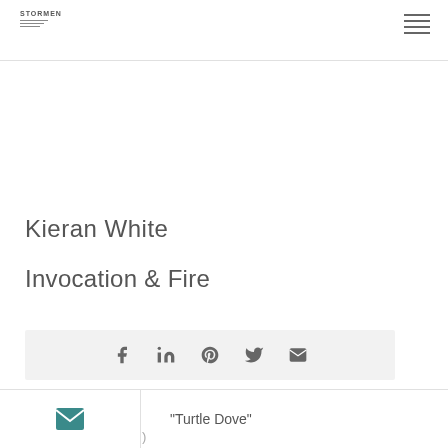STORMEN
Kieran White
Invocation & Fire
[Figure (infographic): Social share bar with icons for Facebook, LinkedIn, Pinterest, Twitter, and Email]
"Turtle Dove"